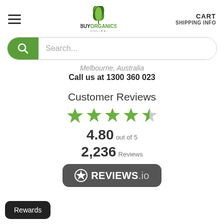[Figure (logo): BuyOrganics Online logo with green leaf icon and text]
CART
SHIPPING INFO
[Figure (screenshot): Search bar with green search icon button and placeholder text 'Search...']
Melbourne, Australia
Call us at 1300 360 023
Customer Reviews
[Figure (infographic): 5 green stars rating display showing 4.80 out of 5, 2,236 Reviews, with Reviews.io badge]
Rewards